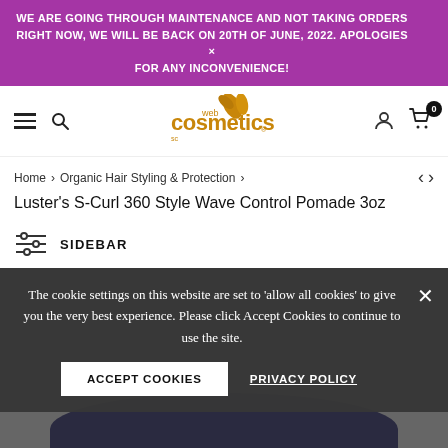WE ARE GOING THROUGH MAINTENANCE AND NOT TAKING ORDERS RIGHT NOW, WE WILL BE BACK ON 20TH OF JUNE, 2022. APOLOGIES FOR ANY INCONVENIENCE!
[Figure (logo): Web Cosmetics logo in gold/orange with leaf motif]
Home > Organic Hair Styling & Protection >
Luster's S-Curl 360 Style Wave Control Pomade 3oz
SIDEBAR
The cookie settings on this website are set to 'allow all cookies' to give you the very best experience. Please click Accept Cookies to continue to use the site.
ACCEPT COOKIES
PRIVACY POLICY